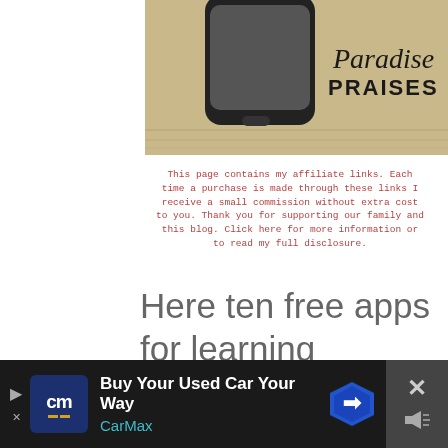[Figure (photo): Photograph of an iPhone on a wooden surface with 'Paradise PRAISES' branding overlay in top right corner]
This page contains my affiliate links. Each time a purchase is made through these links I receive a small commission without extra cost to you. Thank you for supporting our family and this blog. Click here for more information or to read my full disclosure.
Here ten free apps for learning Spanish with a Kindle (they may be available on mobile phones and other devices as well). Each and
[Figure (infographic): CarMax advertisement banner at bottom of page: 'Buy Your Used Car Your Way' with CarMax logo and navigation icon]